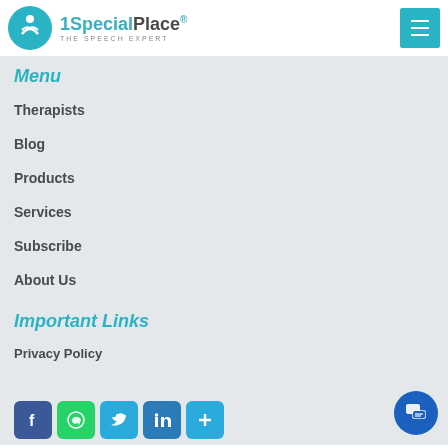[Figure (logo): 1SpecialPlace logo with teal circle icon and text 'THE SPEECH EXPERT']
Menu
Therapists
Blog
Products
Services
Subscribe
About Us
Important Links
Privacy Policy
[Figure (infographic): Social media icon buttons: Facebook, WhatsApp, Twitter, LinkedIn, and a plus/share button]